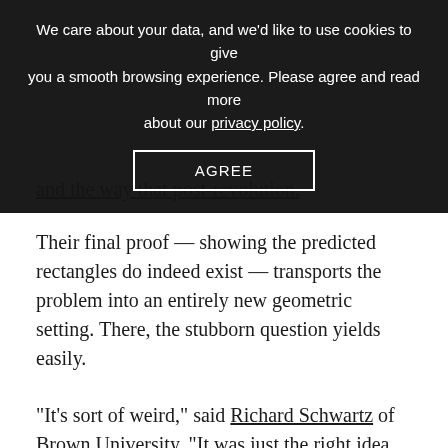We care about your data, and we'd like to use cookies to give you a smooth browsing experience. Please agree and read more about our privacy policy.
AGREE
Their final proof — showing the predicted rectangles do indeed exist — transports the problem into an entirely new geometric setting. There, the stubborn question yields easily.
“It’s sort of weird,” said Richard Schwartz of Brown University. “It was just the right idea for this problem.”
Rethinking Rectangles